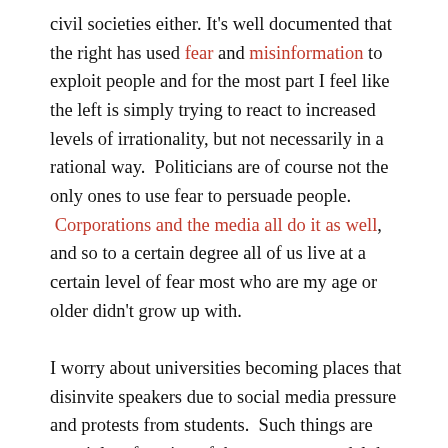civil societies either. It's well documented that the right has used fear and misinformation to exploit people and for the most part I feel like the left is simply trying to react to increased levels of irrationality, but not necessarily in a rational way.  Politicians are of course not the only ones to use fear to persuade people.  Corporations and the media all do it as well, and so to a certain degree all of us live at a certain level of fear most who are my age or older didn't grow up with.

I worry about universities becoming places that disinvite speakers due to social media pressure and protests from students.  Such things are certainly a function of the corporate model that universities are being run as also, but it is a concern that students would be so upset to hear what someone they disagree with has to say to actually...